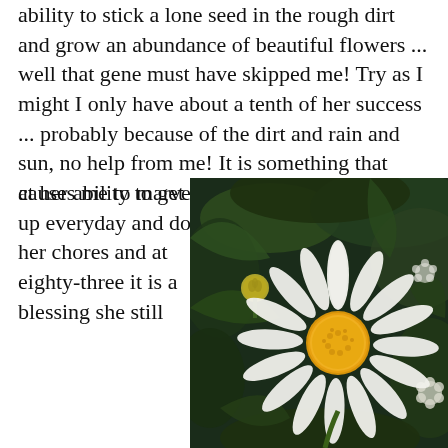ability to stick a lone seed in the rough dirt and grow an abundance of beautiful flowers ... well that gene must have skipped me! Try as I might I only have about a tenth of her success ... probably because of the dirt and rain and sun, no help from me! It is something that causes me to marvel at her ability to get up everyday and do her chores and at eighty-three it is a blessing she still
[Figure (photo): Close-up photograph of a white daisy flower with a yellow center, surrounded by green foliage and a clover bud.]